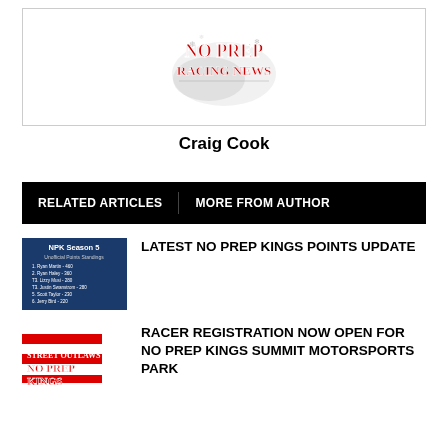[Figure (logo): No Prep Racing logo with stylized text and winter/smoke design]
Craig Cook
RELATED ARTICLES   MORE FROM AUTHOR
[Figure (photo): NPK Season 5 Unofficial Points Standings graphic showing a list of drivers and points]
LATEST NO PREP KINGS POINTS UPDATE
[Figure (photo): Street Outlaws No Prep Kings logo/sign image]
RACER REGISTRATION NOW OPEN FOR NO PREP KINGS SUMMIT MOTORSPORTS PARK